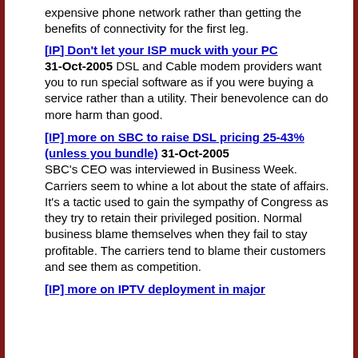expensive phone network rather than getting the benefits of connectivity for the first leg.
[IP] Don't let your ISP muck with your PC 31-Oct-2005 DSL and Cable modem providers want you to run special software as if you were buying a service rather than a utility. Their benevolence can do more harm than good.
[IP] more on SBC to raise DSL pricing 25-43% (unless you bundle) 31-Oct-2005 SBC's CEO was interviewed in Business Week. Carriers seem to whine a lot about the state of affairs. It's a tactic used to gain the sympathy of Congress as they try to retain their privileged position. Normal business blame themselves when they fail to stay profitable. The carriers tend to blame their customers and see them as competition.
[IP] more on IPTV deployment in major